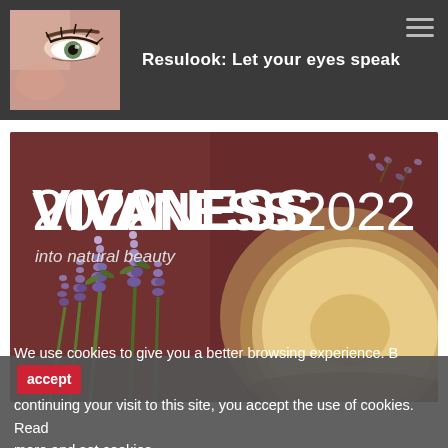[Figure (photo): Dark banner with close-up photo of a woman's eye and face on the left, and the text 'Resulook: Let your eyes speak' in white bold text on the right. Hamburger menu icon in top-right corner.]
[Figure (photo): Vivaness 2022 promotional banner with lavender flowers and a jar of cream/cosmetic product on a dark reddish background. Text reads 'VIVANESS2022' in large white bold text and 'into natural beauty' below.]
We use cookies to give you a better browsing experience. By continuing your visit to this site, you accept the use of cookies. Read more and set cookies